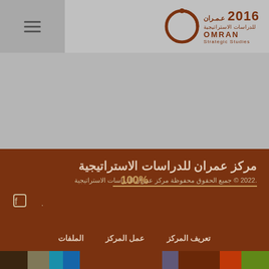OMRAN Strategic Studies 2016
[Figure (logo): OMRAN Strategic Studies logo with circular emblem and Arabic text عمران, year 2016]
مركز عمران للدراسات الاستراتيجية
جميع الحقوق محفوظة مركز عمران للدراسات الاستراتيجية © 2022.
[Figure (infographic): 100% progress bar overlay on copyright text]
Twitter and Facebook social media icons
تعريف المركز
عمل المركز
الملفات
[Figure (infographic): Color strip with segments: dark brown, khaki, teal, blue, brown, purple, brown, orange, green]